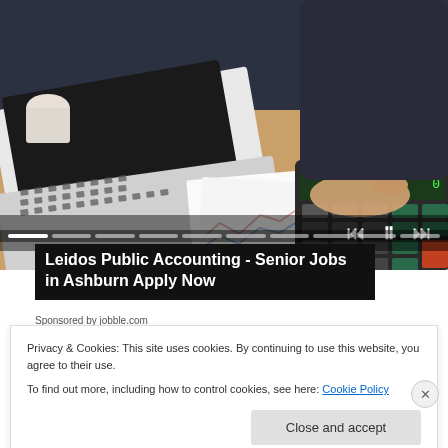[Figure (photo): A person in dark clothing using a laptop and a calculator on a desk, with papers and a smartphone visible. The scene depicts an accounting or financial work environment.]
Leidos Public Accounting - Senior Jobs in Ashburn Apply Now
Sponsored by jobble.com
Privacy & Cookies: This site uses cookies. By continuing to use this website, you agree to their use.
To find out more, including how to control cookies, see here: Cookie Policy